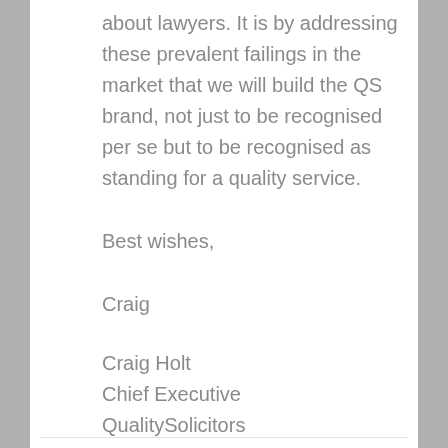about lawyers. It is by addressing these prevalent failings in the market that we will build the QS brand, not just to be recognised per se but to be recognised as standing for a quality service.
Best wishes,
Craig
Craig Holt
Chief Executive
QualitySolicitors
Reply